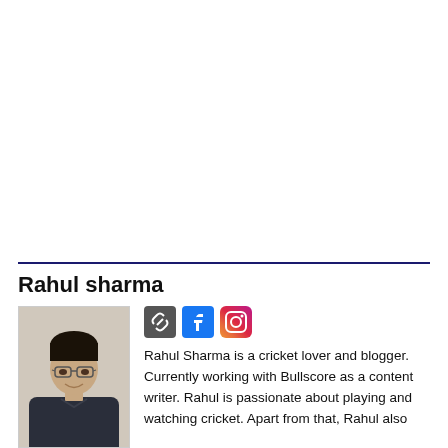[Figure (photo): Photo of Rahul Sharma — young man with glasses and dark hair, smiling, wearing a dark jacket, outdoors]
Rahul sharma
Rahul Sharma is a cricket lover and blogger. Currently working with Bullscore as a content writer. Rahul is passionate about playing and watching cricket. Apart from that, Rahul also writes blogs on Esports games like PUBG Mobile and